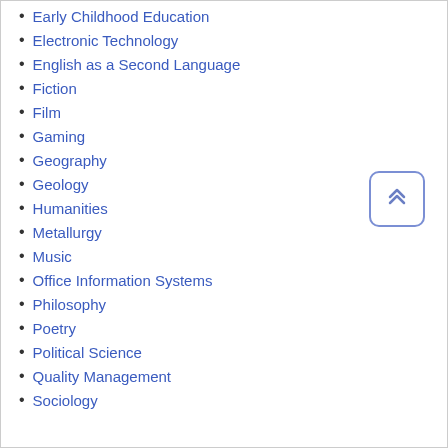Early Childhood Education
Electronic Technology
English as a Second Language
Fiction
Film
Gaming
Geography
Geology
Humanities
Metallurgy
Music
Office Information Systems
Philosophy
Poetry
Political Science
Quality Management
Sociology